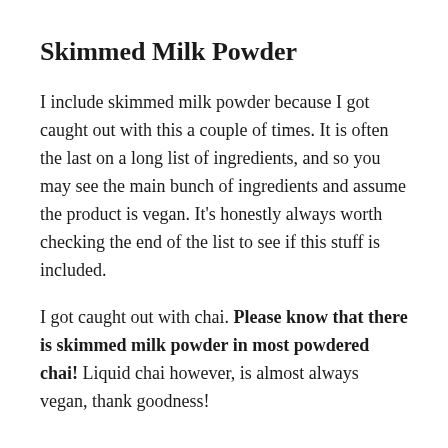Skimmed Milk Powder
I include skimmed milk powder because I got caught out with this a couple of times. It is often the last on a long list of ingredients, and so you may see the main bunch of ingredients and assume the product is vegan. It's honestly always worth checking the end of the list to see if this stuff is included.
I got caught out with chai. Please know that there is skimmed milk powder in most powdered chai! Liquid chai however, is almost always vegan, thank goodness!